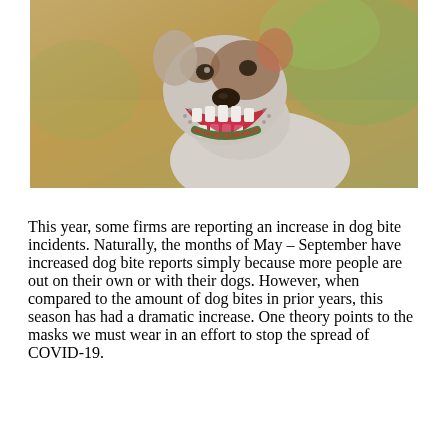[Figure (photo): A white and brown American Staffordshire Terrier dog with its mouth wide open showing teeth, appearing to bark or snarl aggressively, wearing a colorful collar, photographed outdoors with a blurred sandy background.]
This year, some firms are reporting an increase in dog bite incidents. Naturally, the months of May – September have increased dog bite reports simply because more people are out on their own or with their dogs. However, when compared to the amount of dog bites in prior years, this season has had a dramatic increase. One theory points to the masks we must wear in an effort to stop the spread of COVID-19.